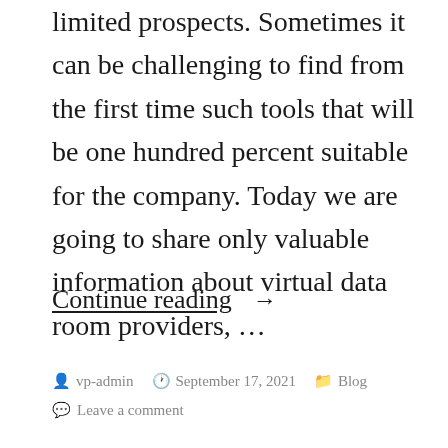limited prospects. Sometimes it can be challenging to find from the first time such tools that will be one hundred percent suitable for the company. Today we are going to share only valuable information about virtual data room providers, …
Continue reading →
vp-admin  September 17, 2021  Blog  Leave a comment